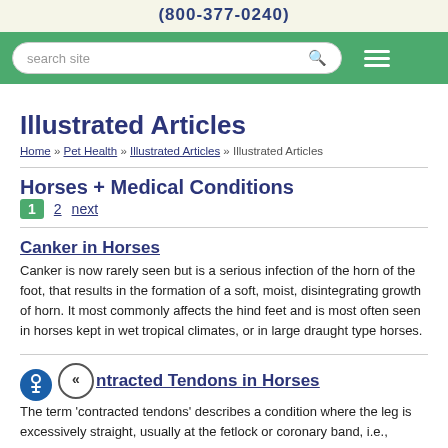(800-377-0240)
[Figure (screenshot): Green navigation bar with search box and hamburger menu]
Illustrated Articles
Home » Pet Health » Illustrated Articles » Illustrated Articles
Horses + Medical Conditions
1  2  next
Canker in Horses
Canker is now rarely seen but is a serious infection of the horn of the foot, that results in the formation of a soft, moist, disintegrating growth of horn. It most commonly affects the hind feet and is most often seen in horses kept in wet tropical climates, or in large draught type horses.
Contracted Tendons in Horses
The term 'contracted tendons' describes a condition where the leg is excessively straight, usually at the fetlock or coronary band, i.e., corono-